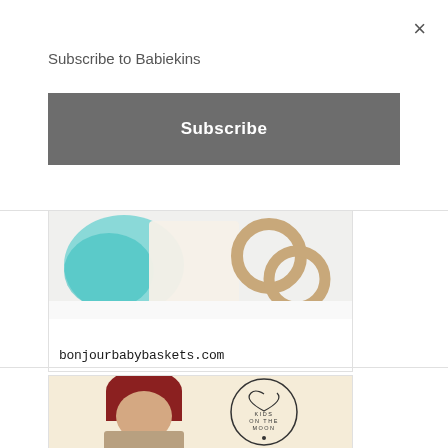×
Subscribe to Babiekins
Subscribe
[Figure (photo): Baby gift basket items: teal ribbon, white fabric, wooden ring teether toys on white background. URL text: bonjourbabybaskets.com]
[Figure (photo): Child wearing red knit hat and tan coat, with Kids on the Moon circular logo]